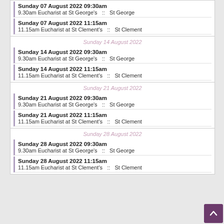Sunday 07 August 2022 09:30am
9.30am Eucharist at St George's  ::  St George
Sunday 07 August 2022 11:15am
11.15am Eucharist at St Clement's  ::  St Clement
Sunday 14 August 2022
Sunday 14 August 2022 09:30am
9.30am Eucharist at St George's  ::  St George
Sunday 14 August 2022 11:15am
11.15am Eucharist at St Clement's  ::  St Clement
Sunday 21 August 2022
Sunday 21 August 2022 09:30am
9.30am Eucharist at St George's  ::  St George
Sunday 21 August 2022 11:15am
11.15am Eucharist at St Clement's  ::  St Clement
Sunday 28 August 2022
Sunday 28 August 2022 09:30am
9.30am Eucharist at St George's  ::  St George
Sunday 28 August 2022 11:15am
11.15am Eucharist at St Clement's  ::  St Clement